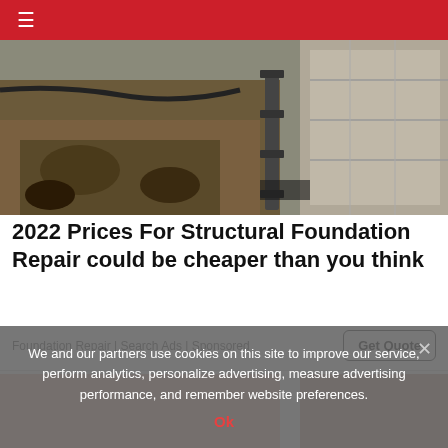≡
[Figure (photo): Construction site showing foundation repair work: excavated soil beside a concrete/stone foundation wall with metal support equipment]
2022 Prices For Structural Foundation Repair could be cheaper than you think
Foundation Repair | Search Ads | Sponsored
[Figure (photo): Partial view of a person, showing skin tones, cropped image]
We and our partners use cookies on this site to improve our service, perform analytics, personalize advertising, measure advertising performance, and remember website preferences.
Ok